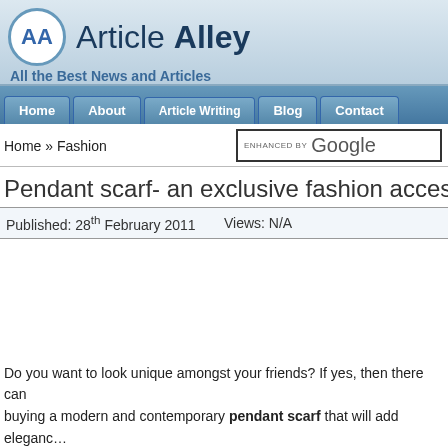Article Alley – All the Best News and Articles
Home » Fashion
Pendant scarf- an exclusive fashion accessory
Published: 28th February 2011   Views: N/A
Do you want to look unique amongst your friends? If yes, then there can be no better option than buying a modern and contemporary pendant scarf that will add elegance to your looks. Many women love to fill their closet with exclusive jewelry collections but the choice is always a difficult one as some women like to wear trendy and stylish jewelry and on the other hand some like it classic. Pendant scarves are usually preferred by the modern woman because th…